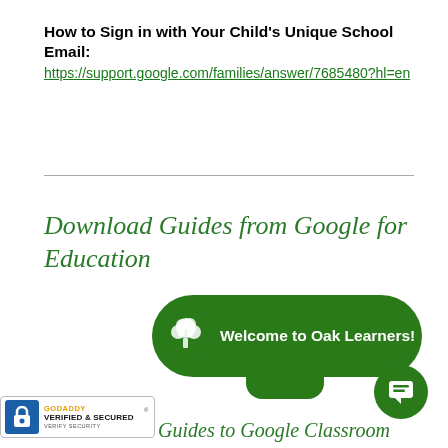How to Sign in with Your Child's Unique School Email:
https://support.google.com/families/answer/7685480?hl=en
Download Guides from Google for Education
[Figure (illustration): Green rounded rectangle banner with tree logo and text: Welcome to Oak Learners! with a tab handle below and a green chat bubble icon at bottom right]
[Figure (logo): GoDaddy Verified & Secured badge with lock icon]
Guides to Google Classroom